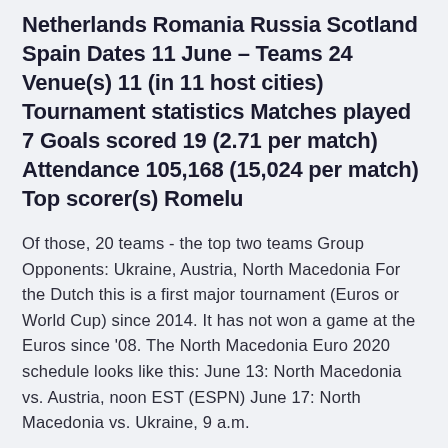Netherlands Romania Russia Scotland Spain Dates 11 June – Teams 24 Venue(s) 11 (in 11 host cities) Tournament statistics Matches played 7 Goals scored 19 (2.71 per match) Attendance 105,168 (15,024 per match) Top scorer(s) Romelu
Of those, 20 teams - the top two teams Group Opponents: Ukraine, Austria, North Macedonia For the Dutch this is a first major tournament (Euros or World Cup) since 2014. It has not won a game at the Euros since '08. The North Macedonia Euro 2020 schedule looks like this: June 13: North Macedonia vs. Austria, noon EST (ESPN) June 17: North Macedonia vs. Ukraine, 9 a.m.